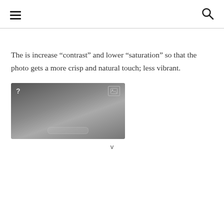≡  🔍
The is increase “contrast” and lower “saturation” so that the photo gets a more crisp and natural touch; less vibrant.
[Figure (screenshot): A dark grayscale image placeholder with a question mark in the top-left corner, an image icon in the top-right corner, and a rounded rectangle bar near the bottom center.]
v